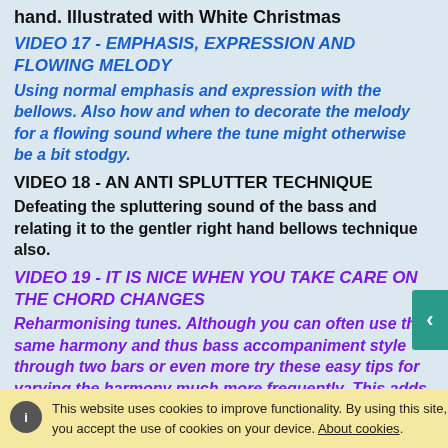hand. Illustrated with White Christmas
VIDEO 17 - EMPHASIS, EXPRESSION AND FLOWING MELODY
Using normal emphasis and expression with the bellows. Also how and when to decorate the melody for a flowing sound where the tune might otherwise be a bit stodgy.
VIDEO 18 - AN ANTI SPLUTTER TECHNIQUE
Defeating the spluttering sound of the bass and relating it to the gentler right hand bellows technique also.
VIDEO 19 - IT IS NICE WHEN YOU TAKE CARE ON THE CHORD CHANGES
Reharmonising tunes. Although you can often use the same harmony and thus bass accompaniment style through two bars or even more try these easy tips for varying the harmony much more frequently. This adds
This website uses cookies to improve functionality. By using this site, you accept the use of cookies on your device. About cookies.